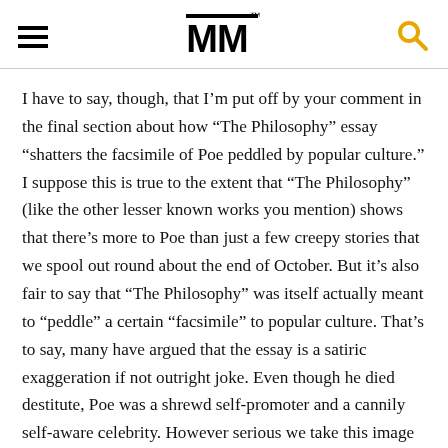MM
I have to say, though, that I'm put off by your comment in the final section about how “The Philosophy” essay “shatters the facsimile of Poe peddled by popular culture.” I suppose this is true to the extent that “The Philosophy” (like the other lesser known works you mention) shows that there’s more to Poe than just a few creepy stories that we spool out round about the end of October. But it’s also fair to say that “The Philosophy” was itself actually meant to “peddle” a certain “facsimile” to popular culture. That’s to say, many have argued that the essay is a satiric exaggeration if not outright joke. Even though he died destitute, Poe was a shrewd self-promoter and a cannily self-aware celebrity. However serious we take this image of